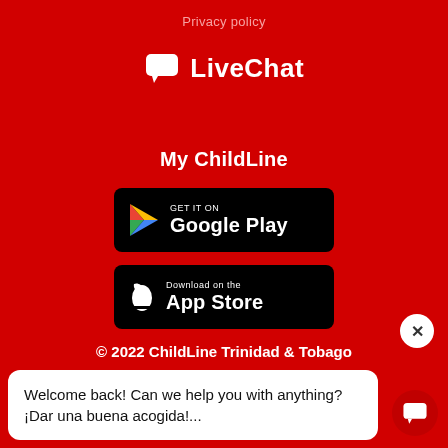Privacy policy
[Figure (logo): LiveChat logo with speech bubble icon and text 'LiveChat' in white on red background]
My ChildLine
[Figure (illustration): Google Play store download button - black rounded rectangle with Google Play triangle logo and text 'GET IT ON Google Play']
[Figure (illustration): Apple App Store download button - black rounded rectangle with Apple logo and text 'Download on the App Store']
© 2022 ChildLine Trinidad & Tobago
Welcome back! Can we help you with anything? ¡Dar una buena acogida!...